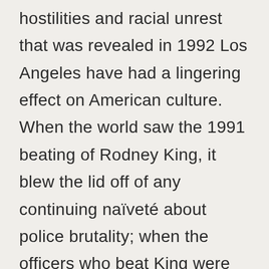hostilities and racial unrest that was revealed in 1992 Los Angeles have had a lingering effect on American culture. When the world saw the 1991 beating of Rodney King, it blew the lid off of any continuing naïveté about police brutality; when the officers who beat King were found not guilty in April 1991, it was like a taking a match to the powder keg of systemic racism.